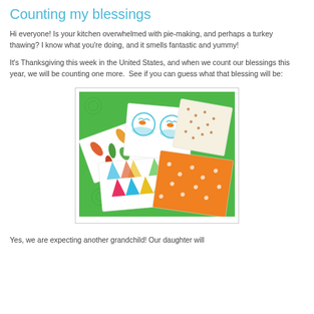Counting my blessings
Hi everyone! Is your kitchen overwhelmed with pie-making, and perhaps a turkey thawing? I know what you're doing, and it smells fantastic and yummy!
It's Thanksgiving this week in the United States, and when we count our blessings this year, we will be counting one more.  See if you can guess what that blessing will be:
[Figure (photo): Photo of baby fabric pieces with colorful patterns including fish bowls, leaves, triangles, and an orange polka-dot fabric, laid on a green patterned background.]
Yes, we are expecting another grandchild! Our daughter will